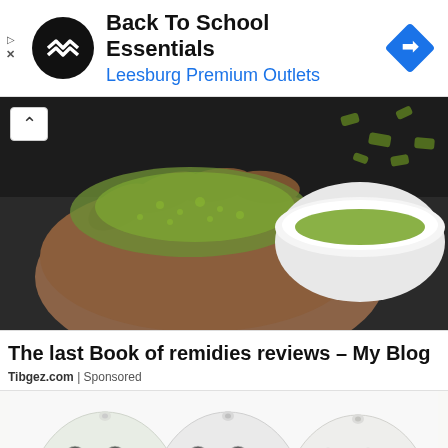[Figure (screenshot): Advertisement banner: Back To School Essentials at Leesburg Premium Outlets with circular black logo and blue diamond navigation icon]
[Figure (photo): Photo of a hand holding green herbal powder over a white bowl on a dark surface, with green herb leaves scattered around]
The last Book of remidies reviews – My Blog
Tibgez.com | Sponsored
[Figure (photo): Bottom portion of three white textured ceramic or avocado-shaped objects on a white background]